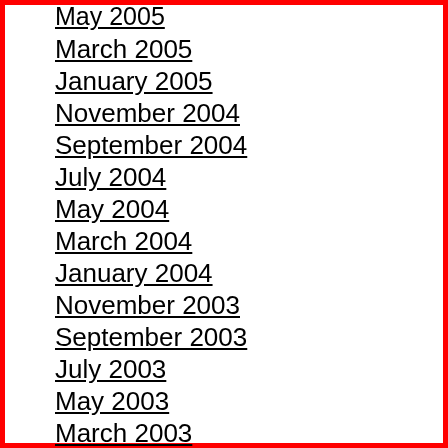May 2005
March 2005
January 2005
November 2004
September 2004
July 2004
May 2004
March 2004
January 2004
November 2003
September 2003
July 2003
May 2003
March 2003
January 2003